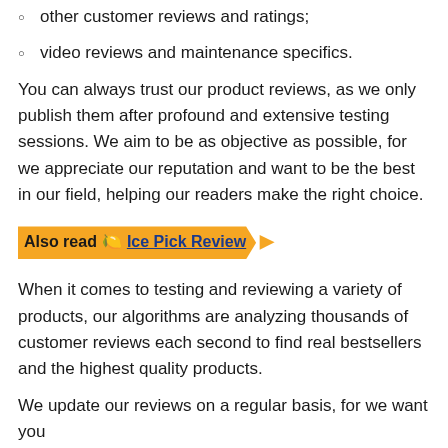other customer reviews and ratings;
video reviews and maintenance specifics.
You can always trust our product reviews, as we only publish them after profound and extensive testing sessions. We aim to be as objective as possible, for we appreciate our reputation and want to be the best in our field, helping our readers make the right choice.
Also read 🍋 Ice Pick Review ▶
When it comes to testing and reviewing a variety of products, our algorithms are analyzing thousands of customer reviews each second to find real bestsellers and the highest quality products.
We update our reviews on a regular basis, for we want you